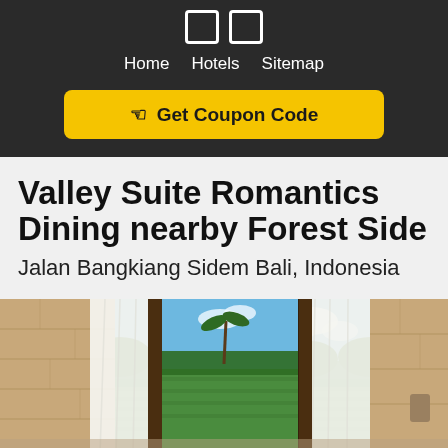☐☐
Home  Hotels  Sitemap
☛ Get Coupon Code
Valley Suite Romantics Dining nearby Forest Side
Jalan Bangkiang Sidem Bali, Indonesia
[Figure (photo): Interior photo showing a room with white curtains, stone walls, and an open wooden door revealing a lush tropical green rice field and palm trees under a blue sky with clouds]